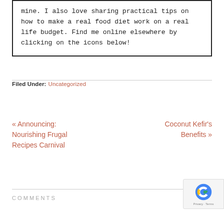mine. I also love sharing practical tips on how to make a real food diet work on a real life budget. Find me online elsewhere by clicking on the icons below!
Filed Under: Uncategorized
« Announcing: Nourishing Frugal Recipes Carnival
Coconut Kefir's Benefits »
COMMENTS